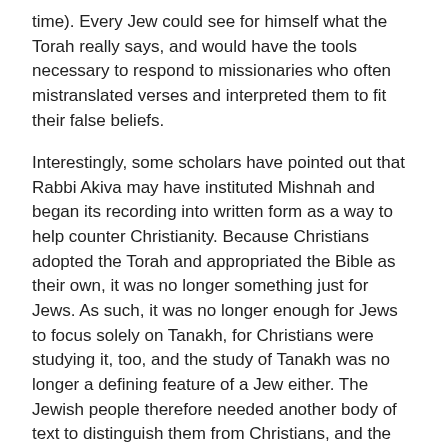time). Every Jew could see for himself what the Torah really says, and would have the tools necessary to respond to missionaries who often mistranslated verses and interpreted them to fit their false beliefs.
Interestingly, some scholars have pointed out that Rabbi Akiva may have instituted Mishnah and began its recording into written form as a way to help counter Christianity. Because Christians adopted the Torah and appropriated the Bible as their own, it was no longer something just for Jews. As such, it was no longer enough for Jews to focus solely on Tanakh, for Christians were studying it, too, and the study of Tanakh was no longer a defining feature of a Jew either. The Jewish people therefore needed another body of text to distinguish them from Christians, and the Mishnah (and later, Talmud) filled that important role. This may be a further way in which Rabbi Akiva preserved Judaism in the face of great adversity.